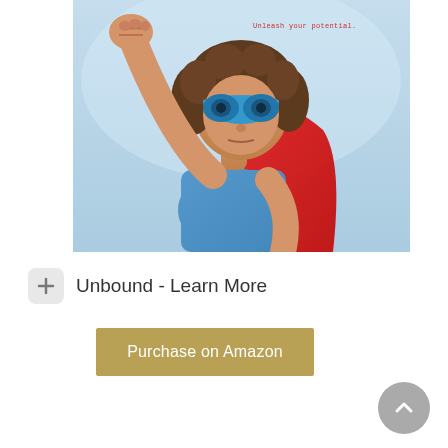[Figure (photo): A child dressed as a superhero wearing a blue mask and red cape, raising one fist in the air against a light blue sky background. Text overlay reads 'Unleash your potential.']
Unleash your potential.
Unbound - Learn More
Purchase on Amazon